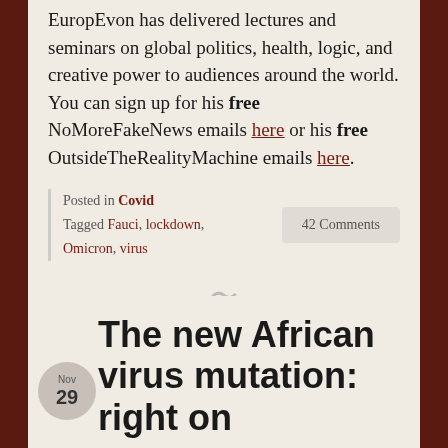EuropEvon has delivered lectures and seminars on global politics, health, logic, and creative power to audiences around the world. You can sign up for his free NoMoreFakeNews emails here or his free OutsideTheRealityMachine emails here.
Posted in Covid
Tagged Fauci, lockdown, Omicron, virus
42 Comments
The new African virus mutation: right on